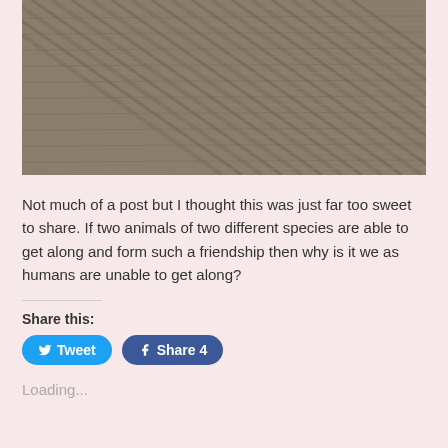[Figure (photo): Close-up photo of a textured fabric or surface with diagonal striped pattern in brown/olive/grey tones, partially cropped at top]
Not much of a post but I thought this was just far too sweet to share. If two animals of two different species are able to get along and form such a friendship then why is it we as humans are unable to get along?
Share this:
Tweet
Share 4
Loading...